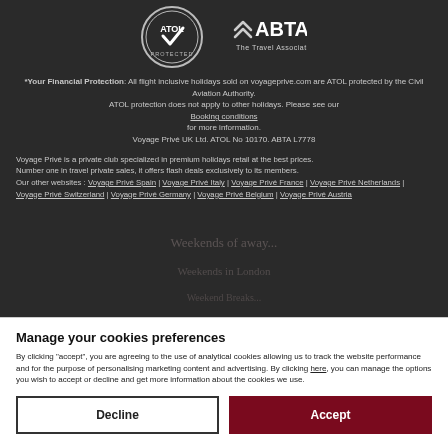[Figure (logo): ATOL Protected circular logo in white on dark background]
[Figure (logo): ABTA The Travel Association logo in white on dark background]
*Your Financial Protection: All flight inclusive holidays sold on voyageprive.com are ATOL protected by the Civil Aviation Authority. ATOL protection does not apply to other holidays. Please see our Booking conditions for more information. Voyage Privé UK Ltd. ATOL No 10170. ABTA L7778
Voyage Privé is a private club specialized in premium holidays retail at the best prices. Number one in travel private sales, it offers flash deals exclusively to its members. Our other websites : Voyage Privé Spain | Voyage Privé Italy | Voyage Privé France | Voyage Privé Netherlands | Voyage Privé Switzerland | Voyage Privé Germany | Voyage Privé Belgium | Voyage Privé Austria
Manage your cookies preferences
By clicking "accept", you are agreeing to the use of analytical cookies allowing us to track the website performance and for the purpose of personalising marketing content and advertising. By clicking here, you can manage the options you wish to accept or decline and get more information about the cookies we use.